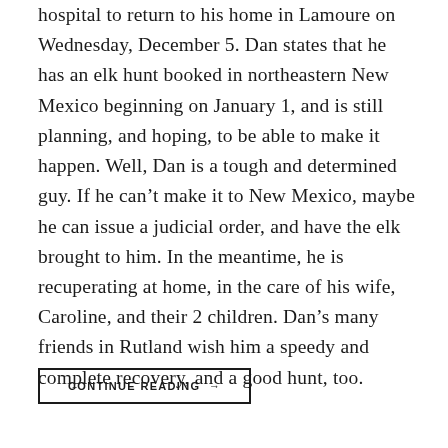hospital to return to his home in Lamoure on Wednesday, December 5. Dan states that he has an elk hunt booked in northeastern New Mexico beginning on January 1, and is still planning, and hoping, to be able to make it happen. Well, Dan is a tough and determined guy. If he can't make it to New Mexico, maybe he can issue a judicial order, and have the elk brought to him. In the meantime, he is recuperating at home, in the care of his wife, Caroline, and their 2 children. Dan's many friends in Rutland wish him a speedy and complete recovery, and a good hunt, too.
CONTINUE READING →